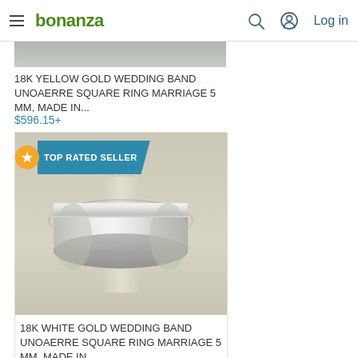bonanza — Log in
[Figure (photo): Partial product image of 18K yellow gold wedding band at top of page]
18K YELLOW GOLD WEDDING BAND UNOAERRE SQUARE RING MARRIAGE 5 MM, MADE IN...
$596.15+
[Figure (photo): 18K white gold wedding band UNOAERRE square ring on display stand, with TOP RATED SELLER badge]
18K WHITE GOLD WEDDING BAND UNOAERRE SQUARE RING MARRIAGE 5 MM, MADE IN ...